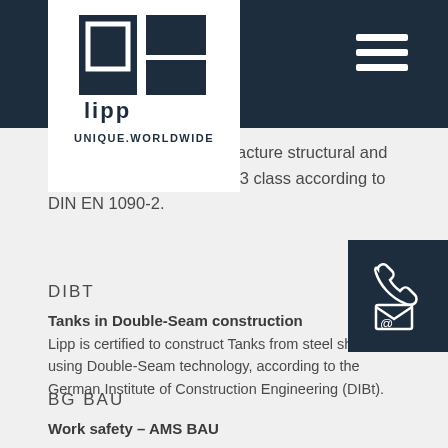[Figure (logo): Lipp logo with geometric shapes and UNIQUE.WORLDWIDE text]
ed to calculate and manufacture structural and steel structures up to EXC3 class according to DIN EN 1090-2.
DIBT
Tanks in Double-Seam construction
Lipp is certified to construct Tanks from steel sheet using Double-Seam technology, according to the German Institute of Construction Engineering (DIBt).
BG BAU
Work safety – AMS BAU